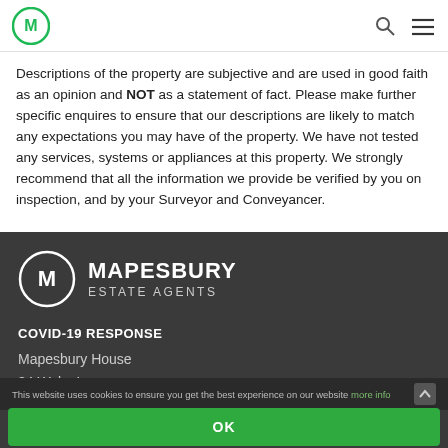Mapesbury Estate Agents logo and navigation
Descriptions of the property are subjective and are used in good faith as an opinion and NOT as a statement of fact. Please make further specific enquires to ensure that our descriptions are likely to match any expectations you may have of the property. We have not tested any services, systems or appliances at this property. We strongly recommend that all the information we provide be verified by you on inspection, and by your Surveyor and Conveyancer.
[Figure (logo): Mapesbury Estate Agents logo in footer - white circle with M icon, text MAPESBURY ESTATE AGENTS]
COVID-19 RESPONSE
Mapesbury House
84 Walm Lane
Willesden
This website uses cookies to ensure you get the best experience on our website more info | OK